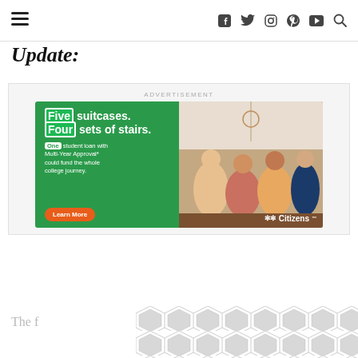≡ [hamburger menu] | Social icons: Facebook, Twitter, Instagram, Pinterest, YouTube, Search
Update:
[Figure (screenshot): Citizens Bank advertisement: 'Five suitcases. Four sets of stairs. One student loan with Multi-Year Approval* could fund the whole college journey. Learn More' with photo of college students and Citizens Bank logo.]
The f... [partially visible text teaser]